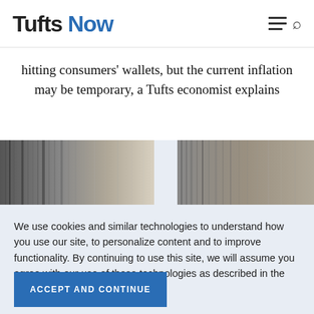Tufts Now
hitting consumers' wallets, but the current inflation may be temporary, a Tufts economist explains
[Figure (photo): Two side-by-side abstract striped photographic images with vertical lines in grey and beige tones, set against a light blue background]
We use cookies and similar technologies to understand how you use our site, to personalize content and to improve functionality. By continuing to use this site, we will assume you agree with our use of these technologies as described in the Privacy Statement.
ACCEPT AND CONTINUE